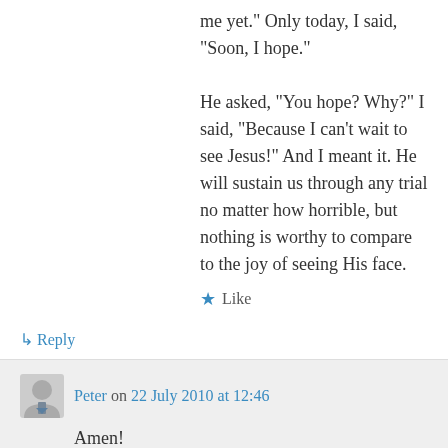me yet.” Only today, I said, “Soon, I hope.”

He asked, “You hope? Why?” I said, “Because I can’t wait to see Jesus!” And I meant it. He will sustain us through any trial no matter how horrible, but nothing is worthy to compare to the joy of seeing His face.
★ Like
↳ Reply
Peter on 22 July 2010 at 12:46
Amen!
★ Like
↳ Reply